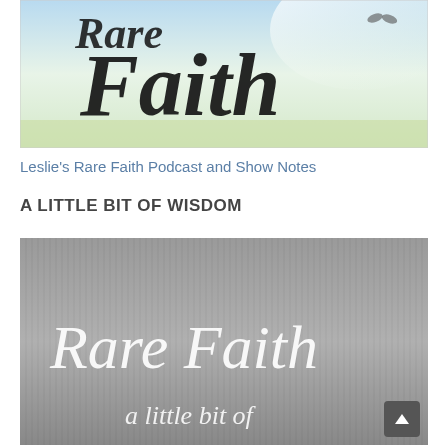[Figure (illustration): Top banner image showing the word 'Faith' in large cursive black script over a light blue-green watercolor background with a decorative element]
Leslie's Rare Faith Podcast and Show Notes
A LITTLE BIT OF WISDOM
[Figure (illustration): Gray textured background image with white cursive script reading 'Rare Faith' and below it 'a little bit of' in white text]